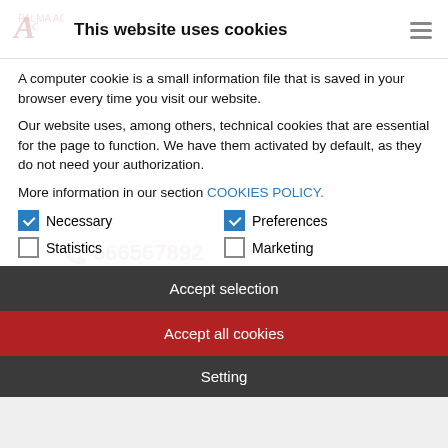This website uses cookies
A computer cookie is a small information file that is saved in your browser every time you visit our website.
Our website uses, among others, technical cookies that are essential for the page to function. We have them activated by default, as they do not need your authorization.
More information in our section COOKIES POLICY.
Necessary (checked)
Preferences (checked)
Statistics (unchecked)
Marketing (unchecked)
Accept selection
Accept all cookies
Setting